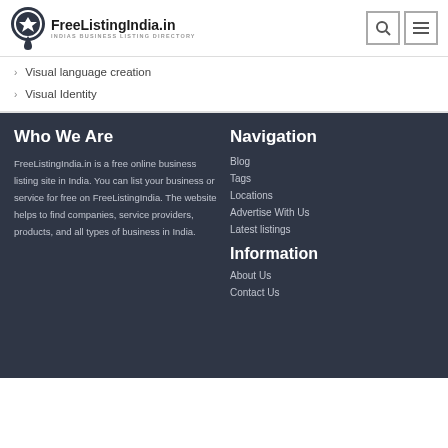FreeListingIndia.in — INDIAS BUSINESS LISTING DIRECTORY
Visual language creation
Visual Identity
Who We Are
FreeListingIndia.in is a free online business listing site in India. You can list your business or service for free on FreeListingIndia. The website helps to find companies, service providers, products, and all types of business in India.
Navigation
Blog
Tags
Locations
Advertise With Us
Latest listings
Information
About Us
Contact Us